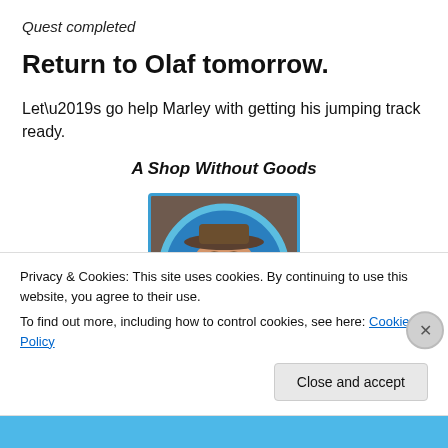Quest completed
Return to Olaf tomorrow.
Let’s go help Marley with getting his jumping track ready.
A Shop Without Goods
[Figure (illustration): Animated character portrait showing a male character with brown hair and a cap, set against a blue circular background]
Privacy & Cookies: This site uses cookies. By continuing to use this website, you agree to their use.
To find out more, including how to control cookies, see here: Cookie Policy
Close and accept